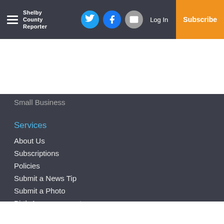Shelby County Reporter — header with hamburger menu, social icons, Log In, Subscribe
Small Business
Services
About Us
Subscriptions
Policies
Submit a News Tip
Submit a Photo
Birth Announcement
Birthday Announcement
Engagement Announcement
Wedding Announcement
Anniversary Announcement
Submit a Classified Advertisement
Sign up for Newsletter
Classifieds